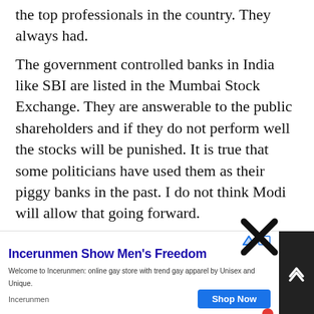the top professionals in the country. They always had. The government controlled banks in India like SBI are listed in the Mumbai Stock Exchange. They are answerable to the public shareholders and if they do not perform well the stocks will be punished. It is true that some politicians have used them as their piggy banks in the past. I do not think Modi will allow that going forward. Sri Lanka's corruption has to stopped at the top. It has become inherent to the culture today whether it is in the government or the private sector. The longer it takes to fix it, the...
[Figure (other): Advertisement banner for Incerunmen showing 'Incerunmen Show Men's Freedom' with description 'Welcome to Incerunmen: online gay store with trend gay apparel by Unisex and Unique.' and a 'Shop Now' button. Overlaid with a large X close button.]